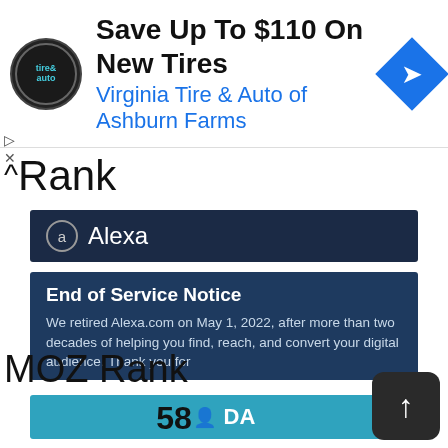[Figure (screenshot): Advertisement banner for Virginia Tire & Auto of Ashburn Farms with logo, headline 'Save Up To $110 On New Tires', and blue diamond icon]
Rank
[Figure (screenshot): Alexa dark blue bar with circled 'a' logo and 'Alexa' text]
[Figure (screenshot): Alexa End of Service Notice box with text about retiring Alexa.com on May 1, 2022]
MOZ Rank
[Figure (screenshot): MOZ DA teal bar with person icon and 'DA' label]
58